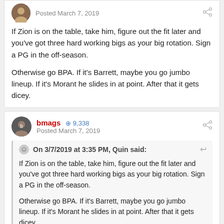Posted March 7, 2019
If Zion is on the table, take him, figure out the fit later and you've got three hard working bigs as your big rotation. Sign a PG in the off-season.

Otherwise go BPA. If it's Barrett, maybe you go jumbo lineup. If it's Morant he slides in at point. After that it gets dicey.
bmags  9,338
Posted March 7, 2019
On 3/7/2019 at 3:35 PM, Quin said:
If Zion is on the table, take him, figure out the fit later and you've got three hard working bigs as your big rotation. Sign a PG in the off-season.

Otherwise go BPA. If it's Barrett, maybe you go jumbo lineup. If it's Morant he slides in at point. After that it gets dicey.